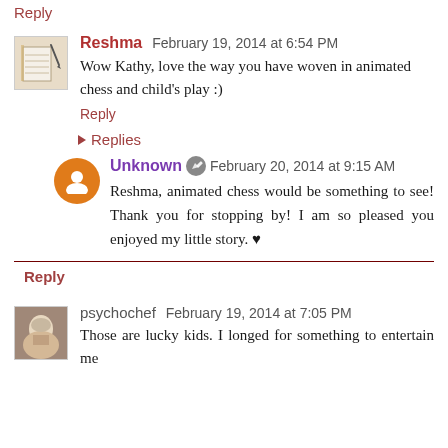Reply
Reshma  February 19, 2014 at 6:54 PM
Wow Kathy, love the way you have woven in animated chess and child's play :)
Reply
Replies
Unknown  February 20, 2014 at 9:15 AM
Reshma, animated chess would be something to see! Thank you for stopping by! I am so pleased you enjoyed my little story. ♥
Reply
psychochef  February 19, 2014 at 7:05 PM
Those are lucky kids. I longed for something to entertain me